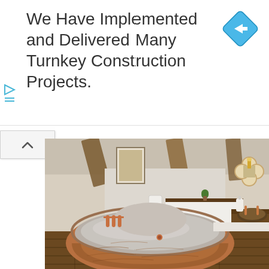We Have Implemented and Delivered Many Turnkey Construction Projects.
[Figure (logo): Blue diamond-shaped navigation/direction icon with a right-arrow symbol]
[Figure (photo): Interior bathroom photo showing a large freestanding copper/bronze bathtub with copper faucets on rustic wooden plank flooring. The bathroom has exposed wooden ceiling beams, white walls, a toilet, a dark wood vanity with a copper basin sink, and a decorative quatrefoil mirror. The tub exterior is copper-toned while the interior appears silver/nickel finished.]